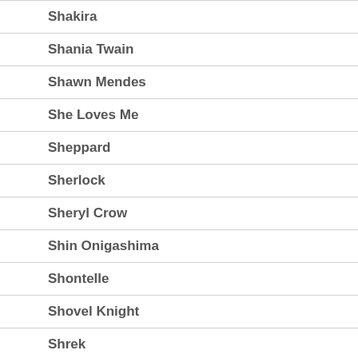Shakira
Shania Twain
Shawn Mendes
She Loves Me
Sheppard
Sherlock
Sheryl Crow
Shin Onigashima
Shontelle
Shovel Knight
Shrek